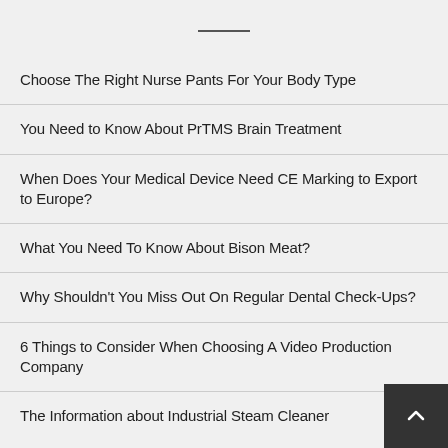Choose The Right Nurse Pants For Your Body Type
You Need to Know About PrTMS Brain Treatment
When Does Your Medical Device Need CE Marking to Export to Europe?
What You Need To Know About Bison Meat?
Why Shouldn't You Miss Out On Regular Dental Check-Ups?
6 Things to Consider When Choosing A Video Production Company
The Information about Industrial Steam Cleaner